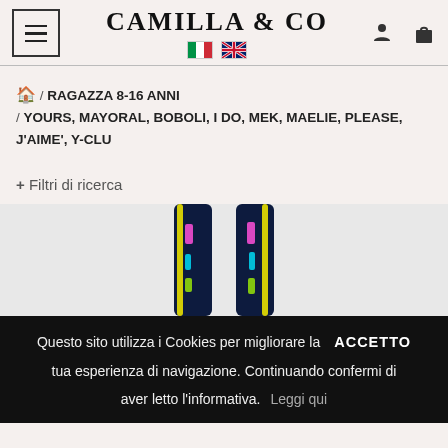CAMILLA & CO
🏠 / RAGAZZA 8-16 ANNI / YOURS, MAYORAL, BOBOLI, I DO, MEK, MAELIE, PLEASE, J'AIME', Y-CLU
+ Filtri di ricerca
[Figure (photo): Product image showing colorful straps of a garment against dark background]
Questo sito utilizza i Cookies per migliorare la tua esperienza di navigazione. Continuando confermi di aver letto l'informativa. ACCETTO  Leggi qui